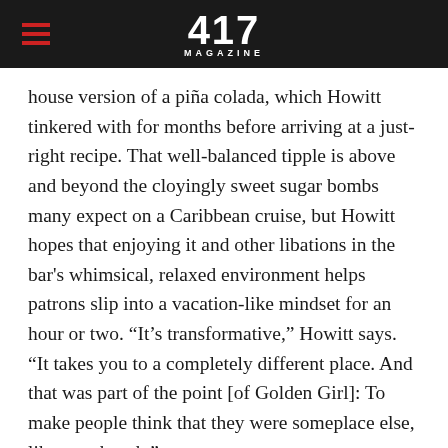417 MAGAZINE
house version of a piña colada, which Howitt tinkered with for months before arriving at a just-right recipe. That well-balanced tipple is above and beyond the cloyingly sweet sugar bombs many expect on a Caribbean cruise, but Howitt hopes that enjoying it and other libations in the bar's whimsical, relaxed environment helps patrons slip into a vacation-like mindset for an hour or two. “It's transformative,” Howitt says. “It takes you to a completely different place. And that was part of the point [of Golden Girl]: To make people think that they were someplace else, like on a beach.”